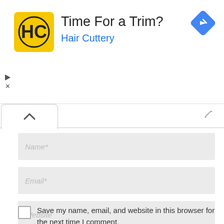[Figure (screenshot): Advertisement banner for Hair Cuttery with logo, headline 'Time For a Trim?', brand name 'Hair Cuttery' in blue, a navigation/directions icon (blue diamond with arrow), and ad controls (play and close buttons).]
[Figure (screenshot): Website comment form showing a collapse/expand tab with up-arrow, three input fields (Name*, Email*, Website), a checkbox with label 'Save my name, email, and website in this browser for the next time I comment.', and an orange 'SUBMIT COMMENT' button.]